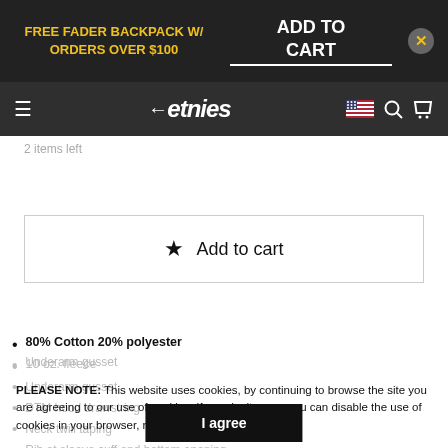FREE FADER BACKPACK W/ ORDERS OVER $100 | ADD TO CART
etnies
2 items left
★ Add to cart
80% Cotton 20% polyester
10 oz. fleece
Underarm gusset
DTM hood drawstring
Neck twill taping
Rib at sleeve cuff and bottom opening
Pouch pocket
Light touch plastisol ink
PLEASE NOTE: This website uses cookies, by continuing to browse the site you are agreeing to our use of cookies. If you don't agree you can disable the use of cookies in your browser, read more.
I agree